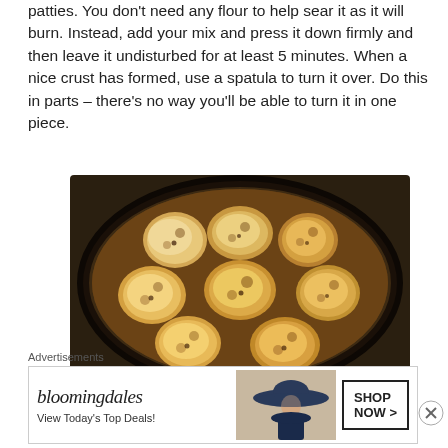patties. You don't need any flour to help sear it as it will burn. Instead, add your mix and press it down firmly and then leave it undisturbed for at least 5 minutes. When a nice crust has formed, use a spatula to turn it over. Do this in parts – there's no way you'll be able to turn it in one piece.
[Figure (photo): Overhead view of several golden-brown cooked patties/fritters in a dark non-stick frying pan]
Advertisements
[Figure (other): Bloomingdale's advertisement banner with logo, 'View Today's Top Deals!' text, woman in wide-brim hat, and 'SHOP NOW >' button]